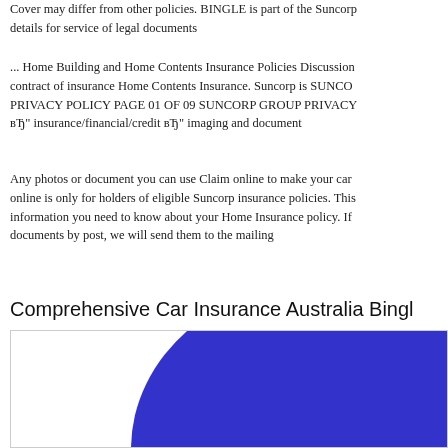Cover may differ from other policies. BINGLE is part of the Suncorp details for service of legal documents
... Home Building and Home Contents Insurance Policies Discussion contract of insurance Home Contents Insurance. Suncorp is SUNCO PRIVACY POLICY PAGE 01 OF 09 SUNCORP GROUP PRIVACY вЂ" insurance/financial/credit вЂ" imaging and document
Any photos or document you can use Claim online to make your car online is only for holders of eligible Suncorp insurance policies. This information you need to know about your Home Insurance policy. If documents by post, we will send them to the mailing
Comprehensive Car Insurance Australia Bingl
[Figure (other): Partial view of a large blue circle/semicircle graphic, likely a logo or decorative illustration for Bingle/Suncorp insurance, shown cropped at the bottom of the page.]